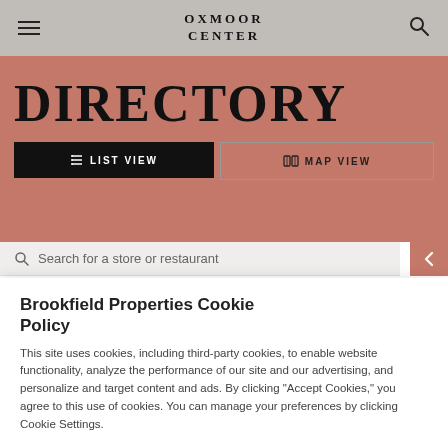OXMOOR CENTER
DIRECTORY
LIST VIEW
MAP VIEW
Search for a store or restaurant
Brookfield Properties Cookie Policy
This site uses cookies, including third-party cookies, to enable website functionality, analyze the performance of our site and our advertising, and personalize and target content and ads. By clicking "Accept Cookies," you agree to this use of cookies. You can manage your preferences by clicking Cookie Settings.